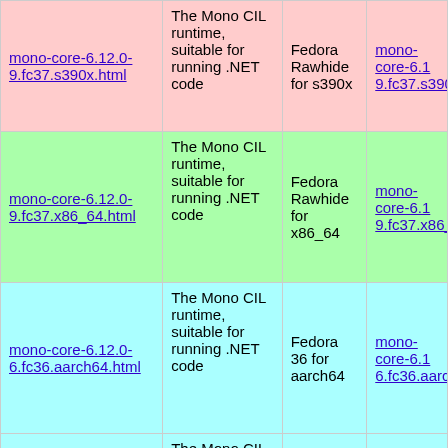| Package | Description | Distribution | Link |
| --- | --- | --- | --- |
| mono-core-6.12.0-9.fc37.s390x.html | The Mono CIL runtime, suitable for running .NET code | Fedora Rawhide for s390x | mono-core-6.1 9.fc37.s390x.m |
| mono-core-6.12.0-9.fc37.x86_64.html | The Mono CIL runtime, suitable for running .NET code | Fedora Rawhide for x86_64 | mono-core-6.1 9.fc37.x86_64 |
| mono-core-6.12.0-6.fc36.aarch64.html | The Mono CIL runtime, suitable for running .NET code | Fedora 36 for aarch64 | mono-core-6.1 6.fc36.aarch64 |
| mono-core-6.12.0-6.fc36.armv7hl.html | The Mono CIL runtime, suitable for running .NET code | Fedora 36 for armhfp | mono-core-6.1 6.fc36.armv7h |
|  | The M... |  |  |